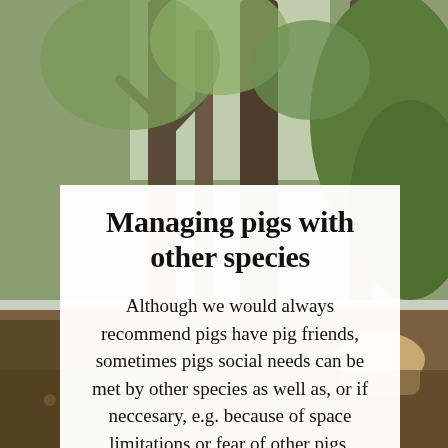[Figure (photo): Forest scene with tall trees, green foliage, and what appears to be a pig partially visible at the lower right against a woodland background with leaf litter on the ground.]
Managing pigs with other species
Although we would always recommend pigs have pig friends, sometimes pigs social needs can be met by other species as well as, or if neccesary, e.g. because of space limitations or fear of other pigs, instead of other